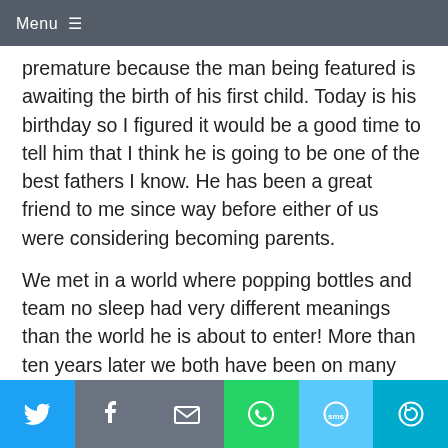Menu
premature because the man being featured is awaiting the birth of his first child.  Today is his birthday so I figured it would be a good time to tell him that I think he is going to be one of the best fathers I know.  He has been a great friend to me since way before either of us were considering becoming parents.
We met in a world where popping bottles and team no sleep had very different meanings than the world he is about to enter!  More than ten years later we both have been on many adventures but now I am so happy to help welcome him and his girlfriend into the secret
[Figure (infographic): Social share bar with six buttons: Twitter (blue bird icon), Facebook (gray f icon), Email (gray envelope icon), WhatsApp (green phone icon), SMS (light blue SMS icon), More (teal circular arrow icon)]